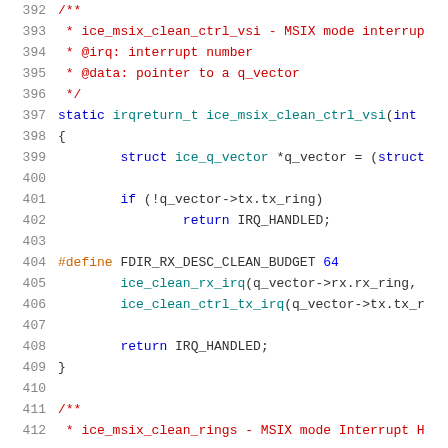Source code listing lines 392-412, C kernel interrupt handler code
392  /**
393   * ice_msix_clean_ctrl_vsi - MSIX mode interrup
394   * @irq: interrupt number
395   * @data: pointer to a q_vector
396   */
397  static irqreturn_t ice_msix_clean_ctrl_vsi(int
398  {
399          struct ice_q_vector *q_vector = (struct
400  
401          if (!q_vector->tx.tx_ring)
402                  return IRQ_HANDLED;
403  
404  #define FDIR_RX_DESC_CLEAN_BUDGET 64
405          ice_clean_rx_irq(q_vector->rx.rx_ring,
406          ice_clean_ctrl_tx_irq(q_vector->tx.tx_r
407  
408          return IRQ_HANDLED;
409  }
410  
411  /**
412   * ice_msix_clean_rings - MSIX mode Interrupt H